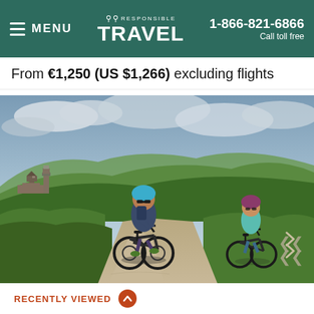MENU | RESPONSIBLE TRAVEL | 1-866-821-6866 Call toll free
From €1,250 (US $1,266) excluding flights
[Figure (photo): Adult and child riding mountain bikes on a gravel trail with a historic stone church/village and green tree-covered hills in the background under a cloudy sky.]
RECENTLY VIEWED